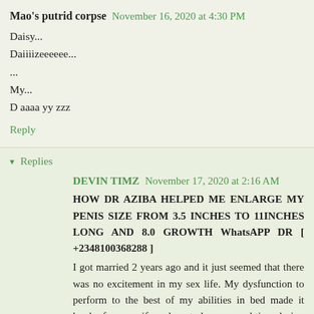Mao's putrid corpse  November 16, 2020 at 4:30 PM
Daisy...
Daiiiizeeeeee...
...
My...
D aaaa yy zzz
Reply
▾ Replies
DEVIN TIMZ  November 17, 2020 at 2:16 AM
HOW DR AZIBA HELPED ME ENLARGE MY PENIS SIZE FROM 3.5 INCHES TO 11INCHES LONG AND 8.0 GROWTH WhatsAPP DR [ +2348100368288 ]
I got married 2 years ago and it just seemed that there was no excitement in my sex life. My dysfunction to perform to the best of my abilities in bed made it harder for my wife and me to have a good time during sex. And i was having the feelings that she may decide to get a divorce one day. I knew something had to be